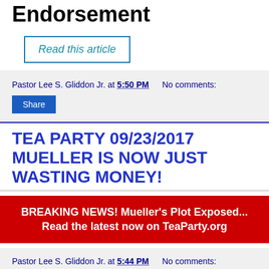Endorsement
Read this article
Pastor Lee S. Gliddon Jr. at 5:50 PM   No comments:
Share
TEA PARTY 09/23/2017 MUELLER IS NOW JUST WASTING MONEY!
BREAKING NEWS! Mueller's Plot Exposed... Read the latest now on TeaParty.org
Pastor Lee S. Gliddon Jr. at 5:44 PM   No comments: